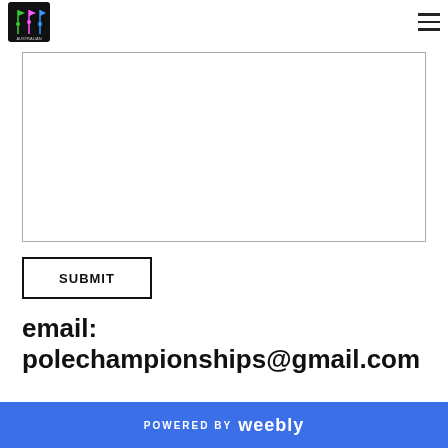Australian Pole Championships logo and navigation
[Figure (other): Empty white textarea/input box with gray border]
SUBMIT
email: polechampionships@gmail.com
POWERED BY weebly